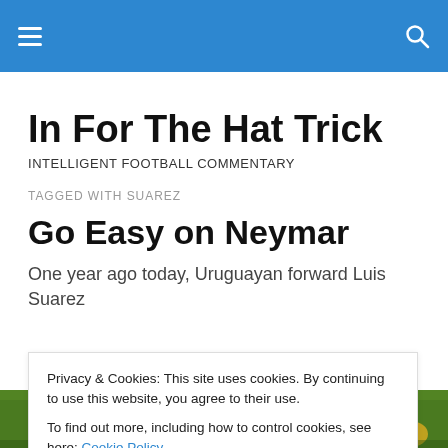In For The Hat Trick
INTELLIGENT FOOTBALL COMMENTARY
TAGGED WITH SUAREZ
Go Easy on Neymar
One year ago today, Uruguayan forward Luis Suarez...
Privacy & Cookies: This site uses cookies. By continuing to use this website, you agree to their use.
To find out more, including how to control cookies, see here: Cookie Policy
[Figure (photo): Football players in yellow jerseys on a green pitch]